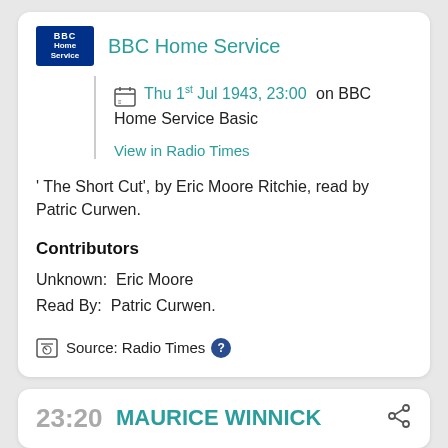[Figure (logo): BBC Home Service logo - dark blue rectangle with white text]
BBC Home Service
Thu 1st Jul 1943, 23:00 on BBC Home Service Basic
View in Radio Times
' The Short Cut', by Eric Moore Ritchie, read by Patric Curwen.
Contributors
Unknown:  Eric Moore
Read By:  Patric Curwen.
Source: Radio Times
23:20
MAURICE WINNICK